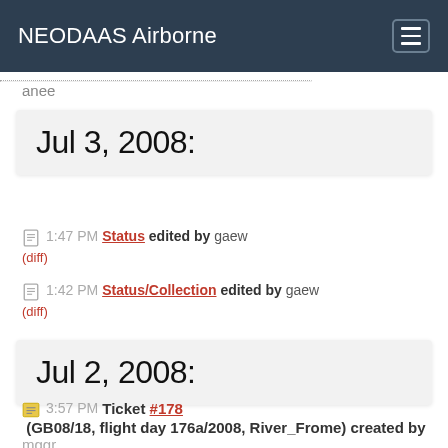NEODAAS Airborne
anee
Jul 3, 2008:
1:47 PM Status edited by gaew (diff)
1:42 PM Status/Collection edited by gaew (diff)
Jul 2, 2008:
3:57 PM Ticket #178 (GB08/18, flight day 176a/2008, River_Frome) created by mggr Data location: ...